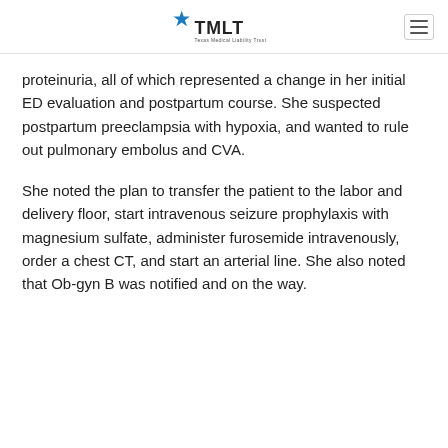TMLT
proteinuria, all of which represented a change in her initial ED evaluation and postpartum course. She suspected postpartum preeclampsia with hypoxia, and wanted to rule out pulmonary embolus and CVA.
She noted the plan to transfer the patient to the labor and delivery floor, start intravenous seizure prophylaxis with magnesium sulfate, administer furosemide intravenously, order a chest CT, and start an arterial line. She also noted that Ob-gyn B was notified and on the way.